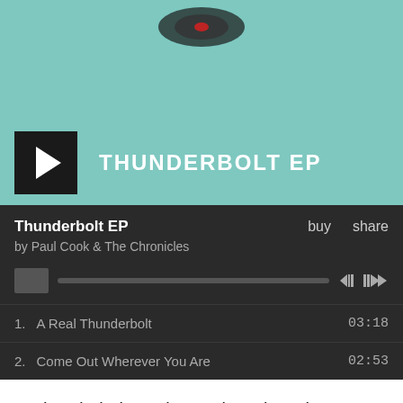[Figure (screenshot): Music player widget showing Thunderbolt EP by Paul Cook & The Chronicles with play button, progress bar, and track listing]
'Thunderbolt EP' by Paul Cook & The Chronicles is out now on Grandpa Stan Records and features 'A Real Thunderbolt', 'Come Out Wherever You Are', 'Upstairs Room' and 'Only Love Pt. 1'.
The EP is available throughout the known digiverse